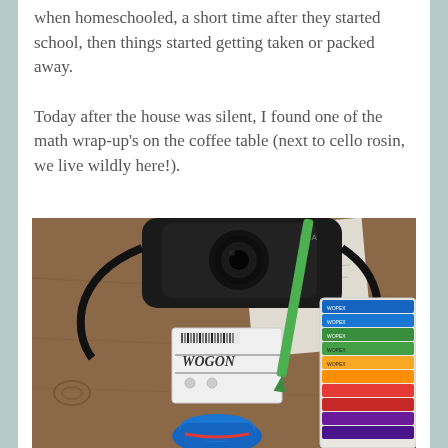when homeschooled, a short time after they started school, then things started getting taken or packed away.

Today after the house was silent, I found one of the math wrap-up's on the coffee table (next to cello rosin, we live wildly here!).
[Figure (photo): Photo of a coffee table showing a math wrap-up card game box labeled 'WOGON', a black camera with strap, a green pen/pencil, a set of colored markers/crayons in a box, papers, and a blue toy or object. The table surface is wooden.]